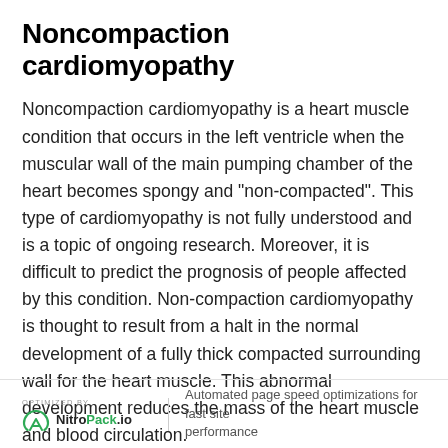Noncompaction cardiomyopathy
Noncompaction cardiomyopathy is a heart muscle condition that occurs in the left ventricle when the muscular wall of the main pumping chamber of the heart becomes spongy and “non-compacted”. This type of cardiomyopathy is not fully understood and is a topic of ongoing research. Moreover, it is difficult to predict the prognosis of people affected by this condition. Non-compaction cardiomyopathy is thought to result from a halt in the normal development of a fully thick compacted surrounding wall for the heart muscle. This abnormal development reduces the mass of the heart muscle and blood circulation.
Automated page speed optimizations for fast site performance